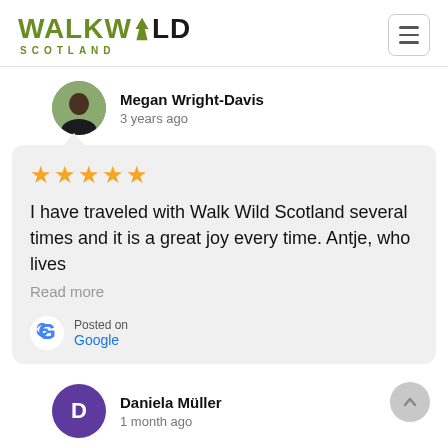[Figure (logo): Walk Wild Scotland logo with stylized tree icon and text]
Megan Wright-Davis
3 years ago
★★★★★ I have traveled with Walk Wild Scotland several times and it is a great joy every time. Antje, who lives
Read more
Posted on
Google
Daniela Müller
1 month ago